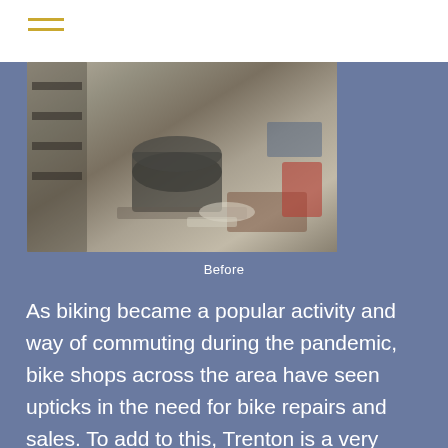[Figure (photo): A cluttered workshop or storage space viewed from above, with tools, a barrel, and various items on the floor — a 'Before' photo of a bike shop space.]
Before
As biking became a popular activity and way of commuting during the pandemic, bike shops across the area have seen upticks in the need for bike repairs and sales. To add to this, Trenton is a very walkable and bike-able city, with the flat area making it easy for bikers to traverse the city. "The city of Trenton is a small